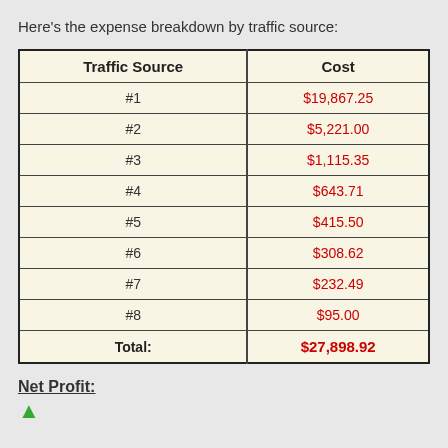Here's the expense breakdown by traffic source:
| Traffic Source | Cost |
| --- | --- |
| #1 | $19,867.25 |
| #2 | $5,221.00 |
| #3 | $1,115.35 |
| #4 | $643.71 |
| #5 | $415.50 |
| #6 | $308.62 |
| #7 | $232.49 |
| #8 | $95.00 |
| Total: | $27,898.92 |
Net Profit: